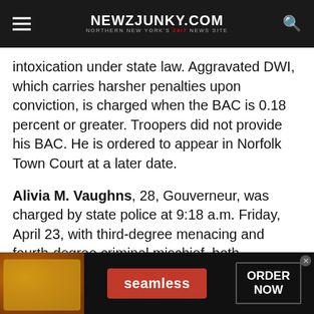NEWZJUNKY.COM — NORTHERN NEW YORK'S 24/7 NEWS SITE
intoxication under state law. Aggravated DWI, which carries harsher penalties upon conviction, is charged when the BAC is 0.18 percent or greater. Troopers did not provide his BAC. He is ordered to appear in Norfolk Town Court at a later date.
Alivia M. Vaughns, 28, Gouverneur, was charged by state police at 9:18 a.m. Friday, April 23, with third-degree menacing and fourth-degree criminal mischief, both misdemeanors, in
[Figure (other): Seamless food delivery advertisement banner showing pizza image, seamless red button, and ORDER NOW button]